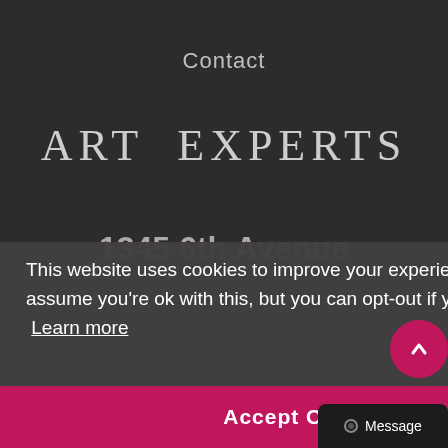Contact
ART  EXPERTS
1345 6th Avenue
This website uses cookies to improve your experience. We'll assume you're ok with this, but you can opt-out if you wish.  Learn more
Accept Cookies
Message